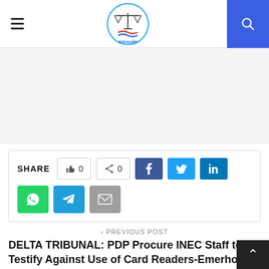Advocate — site header with logo, hamburger menu, and search button
[Figure (other): Advertisement / blank ad placeholder area]
SHARE  👍 0   < 0   f   🐦   in   WhatsApp   Telegram   Email
< PREVIOUS POST
DELTA TRIBUNAL: PDP Procure INEC Staff to Testify Against Use of Card Readers-Emerhor